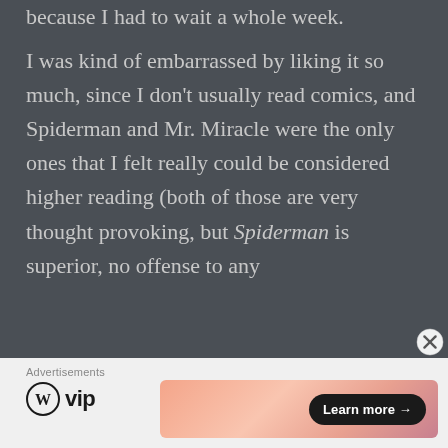because I had to wait a whole week.
I was kind of embarrassed by liking it so much, since I don't usually read comics, and Spiderman and Mr. Miracle were the only ones that I felt really could be considered higher reading (both of those are very thought provoking, but Spiderman is superior, no offense to any
[Figure (other): Close (X) button circle icon overlay]
Advertisements
[Figure (logo): WordPress VIP logo with circle W icon and 'vip' text]
[Figure (infographic): Advertisement banner with gradient pink/orange background and 'Learn more →' button]